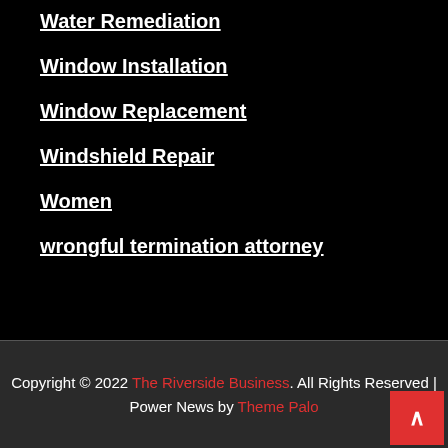Water Remediation
Window Installation
Window Replacement
Windshield Repair
Women
wrongful termination attorney
Copyright © 2022 The Riverside Business. All Rights Reserved | Power News by Theme Palo